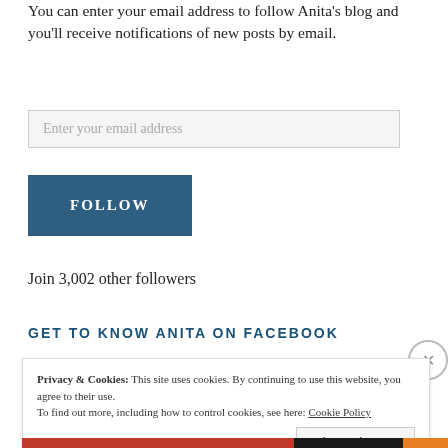You can enter your email address to follow Anita's blog and you'll receive notifications of new posts by email.
Enter your email address
FOLLOW
Join 3,002 other followers
GET TO KNOW ANITA ON FACEBOOK
Privacy & Cookies: This site uses cookies. By continuing to use this website, you agree to their use.
To find out more, including how to control cookies, see here: Cookie Policy
Close and accept